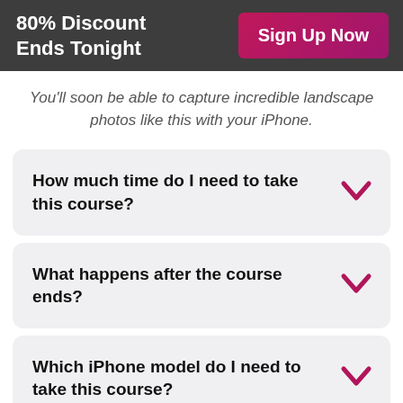80% Discount Ends Tonight | Sign Up Now
You'll soon be able to capture incredible landscape photos like this with your iPhone.
How much time do I need to take this course?
What happens after the course ends?
Which iPhone model do I need to take this course?